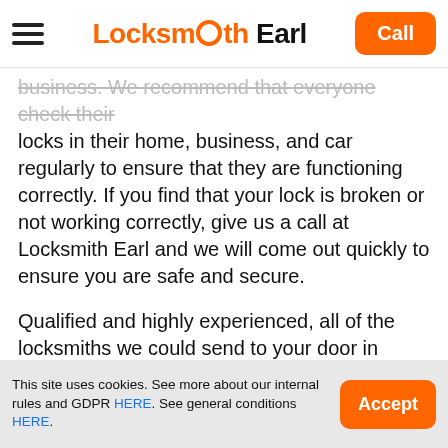Locksmith Earl — Call
business. We recommend that everyone check their locks in their home, business, and car regularly to ensure that they are functioning correctly. If you find that your lock is broken or not working correctly, give us a call at Locksmith Earl and we will come out quickly to ensure you are safe and secure.
Qualified and highly experienced, all of the locksmiths we could send to your door in Coombe are both insurance and guarantee-protected for your peace of mind. You'll be able to spot who they are very easily – they wear branded uniforms and identification badges.
This site uses cookies. See more about our internal rules and GDPR HERE. See general conditions HERE. — Accept